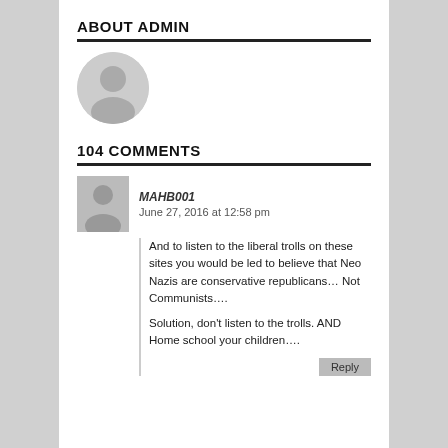ABOUT ADMIN
[Figure (illustration): Default user avatar — large grey circular avatar icon with silhouette of a person]
104 COMMENTS
[Figure (illustration): Default user avatar — small grey square avatar icon with silhouette of a person for commenter MAHB001]
MAHB001
June 27, 2016 at 12:58 pm
And to listen to the liberal trolls on these sites you would be led to believe that Neo Nazis are conservative republicans… Not Communists….
Solution, don't listen to the trolls. AND Home school your children….